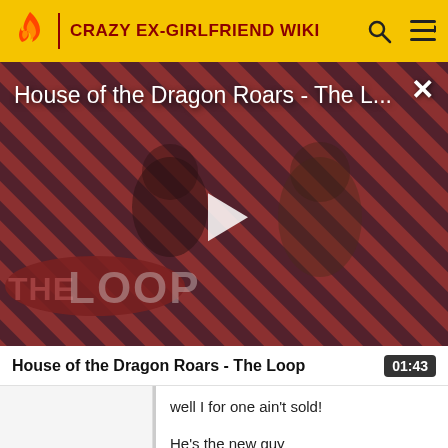CRAZY EX-GIRLFRIEND WIKI
[Figure (screenshot): Video thumbnail for 'House of the Dragon Roars - The L...' showing two characters from House of the Dragon against a red diagonal striped background with 'THE LOOP' logo overlay and a play button in the center. An X close button appears in the top right corner.]
House of the Dragon Roars - The Loop
well I for one ain't sold!

He's the new guy
Not easily reformed by